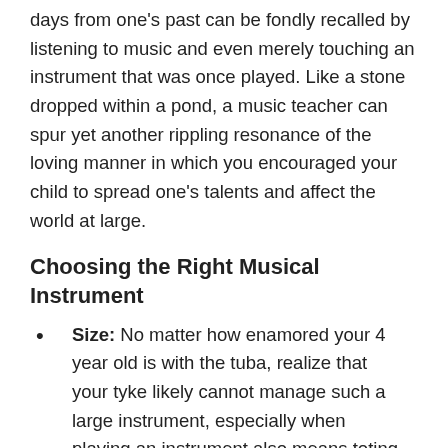days from one's past can be fondly recalled by listening to music and even merely touching an instrument that was once played. Like a stone dropped within a pond, a music teacher can spur yet another rippling resonance of the loving manner in which you encouraged your child to spread one's talents and affect the world at large.
Choosing the Right Musical Instrument
Size: No matter how enamored your 4 year old is with the tuba, realize that your tyke likely cannot manage such a large instrument, especially when playing an instrument also means toting it to practice, school and performances. Rather than discourage your child from playing the instrument completely, offer praise as your child learns something different such as the trumpet, which